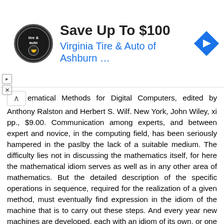[Figure (other): Advertisement banner: logo of Virginia Tire & Auto (circular black logo), large text 'Save Up To $100', subtitle 'Virginia Tire & Auto of Ashburn …' in blue, blue diamond navigation arrow icon on right. Play and close/X controls on left side.]
ematical Methods for Digital Computers, edited by Anthony Ralston and Herbert S. Wilf. New York, John Wiley, xi pp., $9.00. Communication among experts, and between expert and novice, in the computing field, has been seriously hampered in the paslby the lack of a suitable medium. The difficulty lies not in discussing the mathematics itself, for here the mathematical idiom serves as well as in any other area of mathematics. But the detailed description of the specific operations in sequence, required for the realization of a given method, must eventually find expression in the idiom of the machine that is to carry out these steps. And every year new machines are developed, each with an idiom of its own, or one that is common to only a relatively small class of machines in use. Among the earlier machines, those that were constructed in the 40's and early 50,s. each was, indeed, unique, and it was not until the appearance of several copies of Univac I that exchange of actual machine codes from one group to